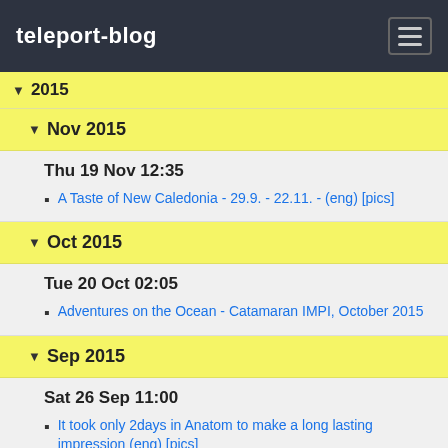teleport-blog
2015
Nov 2015
Thu 19 Nov 12:35
A Taste of New Caledonia - 29.9. - 22.11. - (eng) [pics]
Oct 2015
Tue 20 Oct 02:05
Adventures on the Ocean - Catamaran IMPI, October 2015
Sep 2015
Sat 26 Sep 11:00
It took only 2days in Anatom to make a long lasting impression (eng) [pics]
Thu 24 Sep 11:50
Kleiner Zwischenstopp: Anatom Insel, Vanuatu
Wed 23 Sep 10:23
23.9. 22:10. 405nm hinter uns, noch 302nm bis Noumea